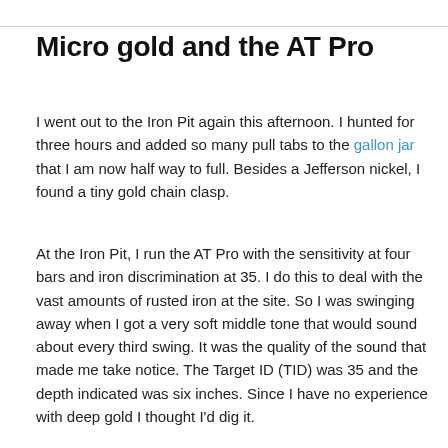Micro gold and the AT Pro
I went out to the Iron Pit again this afternoon. I hunted for three hours and added so many pull tabs to the gallon jar that I am now half way to full. Besides a Jefferson nickel, I found a tiny gold chain clasp.
At the Iron Pit, I run the AT Pro with the sensitivity at four bars and iron discrimination at 35. I do this to deal with the vast amounts of rusted iron at the site. So I was swinging away when I got a very soft middle tone that would sound about every third swing. It was the quality of the sound that made me take notice. The Target ID (TID) was 35 and the depth indicated was six inches. Since I have no experience with deep gold I thought I'd dig it.